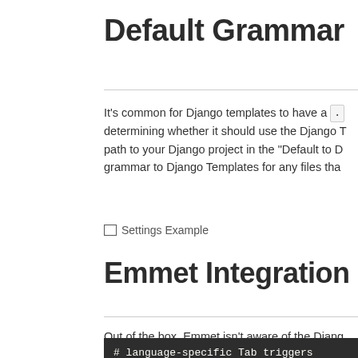Default Grammar
It's common for Django templates to have a . determining whether it should use the Django T path to your Django project in the "Default to D grammar to Django Templates for any files tha
[Figure (screenshot): Settings Example screenshot placeholder]
Emmet Integration
Out of the box, Emmet isn't aware of the Djang tab-based HTML autocompletion rather than E you have to do is add Django Templates to the
# language-specific Tab triggers